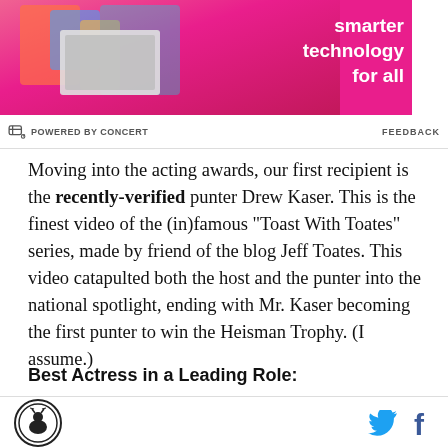[Figure (photo): Advertisement banner with pink background showing a person holding a laptop, and Lenovo branding text 'smarter technology for all']
POWERED BY CONCERT    FEEDBACK
Moving into the acting awards, our first recipient is the recently-verified punter Drew Kaser. This is the finest video of the (in)famous "Toast With Toates" series, made by friend of the blog Jeff Toates. This video catapulted both the host and the punter into the national spotlight, ending with Mr. Kaser becoming the first punter to win the Heisman Trophy. (I assume.)
Best Actress in a Leading Role:
Cadet Date, in "30 Second Clip from ESPN Broadcast"